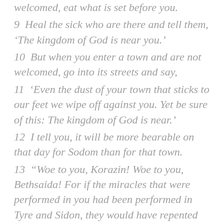welcomed, eat what is set before you.
9  Heal the sick who are there and tell them, 'The kingdom of God is near you.'
10  But when you enter a town and are not welcomed, go into its streets and say,
11  'Even the dust of your town that sticks to our feet we wipe off against you. Yet be sure of this: The kingdom of God is near.'
12  I tell you, it will be more bearable on that day for Sodom than for that town.
13  "Woe to you, Korazin! Woe to you, Bethsaida! For if the miracles that were performed in you had been performed in Tyre and Sidon, they would have repented long ago, sitting in sackcloth and ashes